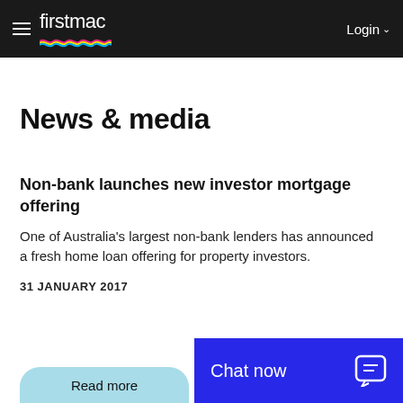firstmac | Login
News & media
Non-bank launches new investor mortgage offering
One of Australia's largest non-bank lenders has announced a fresh home loan offering for property investors.
31 JANUARY 2017
Read more
Chat now